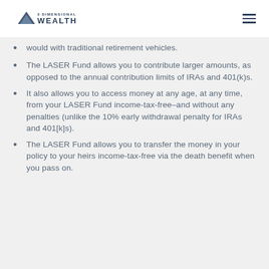3 Dimensional Wealth
would with traditional retirement vehicles.
The LASER Fund allows you to contribute larger amounts, as opposed to the annual contribution limits of IRAs and 401(k)s.
It also allows you to access money at any age, at any time, from your LASER Fund income-tax-free–and without any penalties (unlike the 10% early withdrawal penalty for IRAs and 401[k]s).
The LASER Fund allows you to transfer the money in your policy to your heirs income-tax-free via the death benefit when you pass on.